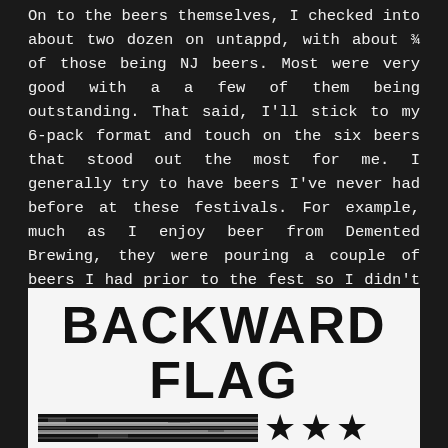On to the beers themselves, I checked into about two dozen on untappd, with about ¾ of those being NJ beers. Most were very good with a a few of them being outstanding. That said, I'll stick to my 6-pack format and touch on the six beers that stood out the most for me. I generally try to have beers I've never had before at these festivals. For example, much as I enjoy beer from Demented Brewing, they were pouring a couple of beers I had prior to the fest so I didn't go for them. Also, this six pack is primarily NJ brews with the exception of one major, phenomenal beer.
Brewer Choice Hefeweizen (Hefeweizen)
Backward Flag Brewing (Forked River, NJ)
[Figure (logo): Backward Flag Brewing logo — large bold stencil text reading BACKWARD FLAG with a horizontal striped bar and three stars below]